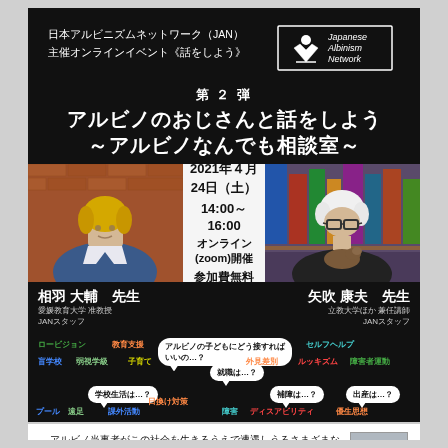日本アルビニズムネットワーク（JAN）主催オンラインイベント《話をしよう》
第２弾 アルビノのおじさんと話をしよう ～アルビノなんでも相談室～
[Figure (photo): Photo of speaker Aiwa Daisuke on left, event info center, photo of speaker Yabuki Yasuo on right]
2021年４月24日（土）14:00～16:00 オンライン(zoom)開催 参加費無料
相羽 大輔 先生 愛媛教育大学 准教授 JANスタッフ
矢吹 康夫 先生 立教大学ほか 兼任講師 JANスタッフ
[Figure (infographic): Word cloud/tags with speech bubbles showing topics: アルビノの子どもにどう接すればいいの…？ 就職は…？ 学校生活は…？ 補障は…？ 出産は…？ and topic tags: ロービジョン 教育支援 盲学校 弱視学級 子育て 外見差別 ルッキズム 障害者運動 セルフヘルプ 日換け対策 障害 ディスアビリティ 優生思想 プール 遠足 課外活動]
アルビノ当事者がこの社会を生きるうえで遭遇しうるさまざまな事柄や疑問について、人生の先輩であり、これまで数多くの当事者とそのご家族のお話を聞いてきたアルビノのおじさん先生がお答えします。どなたでもご参加いただけます。いかなる参加者も歓迎し、無料です。